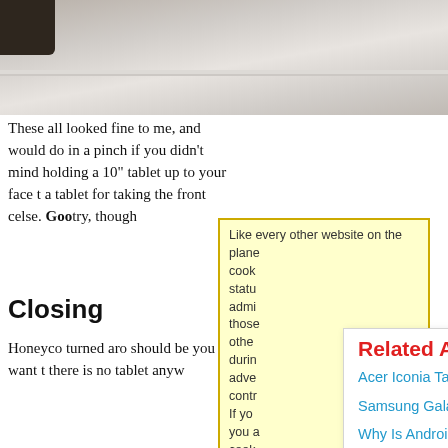[Figure (photo): Close-up photo of a table or desk surface, partially cropped at top of page]
These all looked fine to me, and would do in a pinch if you didn't mind holding a 10" tablet up to your face to take a picture. Using a tablet for taking selfies isn't the best, but at least the front cameras are there. As for everything else. Google has a lot of kinks to still work through, though.
Closing
Honeycomb is a rough but promising OS that has turned around quite a bit since we first saw it. If you want a tablet with the best app store, you should be looking at the iPad. However, if you want the Android experience on a tablet, there is now a finally a fairly well developed tablet any
Like every other website on the planet, we use cookies. Cookies help us track your usage status, display relevant advertising and admire you from afar. If you're cool with those things, click here and we'll pop those cookies in your mouth. Otherwise, during your time here you'll see an advertisement and enjoy this content without contributing to our coffers.
If you click OK, or if you continue to browse SmashingApps.com you are consenting to our use of cookies.
Related Articles
Acer Iconia Tablet Now Up For Pre-Order
Samsung Galaxy Tab 10.1 Reviewed
Why Is Android So Stupid?
Toshiba Thrive Reviewed
ASUS Eee Pad Transformer Reviewed